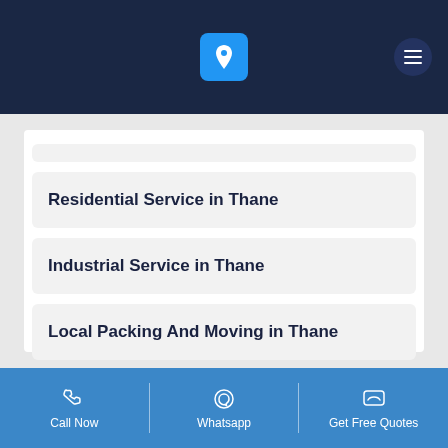Navigation header with logo and hamburger menu
Residential Service in Thane
Industrial Service in Thane
Local Packing And Moving in Thane
Call Now | Whatsapp | Get Free Quotes